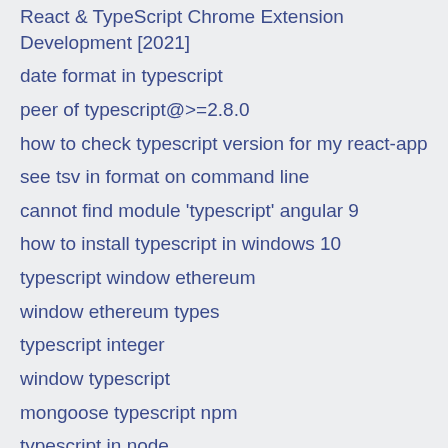React & TypeScript Chrome Extension Development [2021]
date format in typescript
peer of typescript@>=2.8.0
how to check typescript version for my react-app
see tsv in format on command line
cannot find module 'typescript' angular 9
how to install typescript in windows 10
typescript window ethereum
window ethereum types
typescript integer
window typescript
mongoose typescript npm
typescript in node